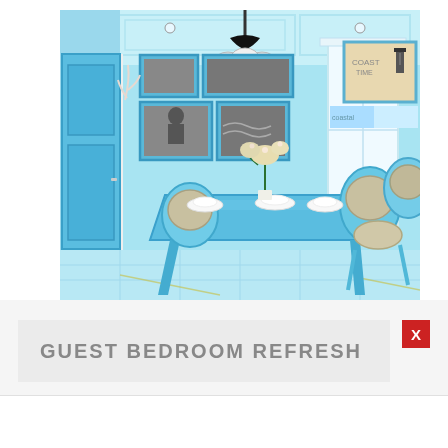[Figure (photo): Interior design photo of a Mediterranean/coastal style dining room with light blue walls, blue dining table and chairs, framed black and white photos on wall, a chandelier, white cabinet, flower centerpiece, and decorative wall art.]
GUEST BEDROOM REFRESH